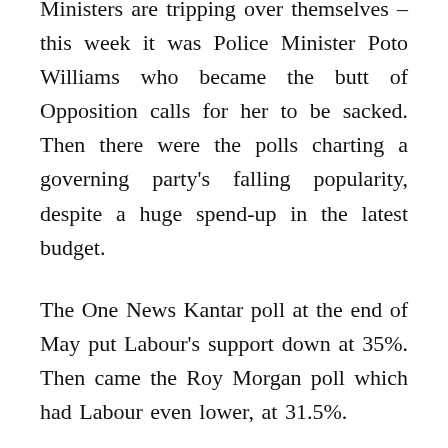Ministers are tripping over themselves – this week it was Police Minister Poto Williams who became the butt of Opposition calls for her to be sacked. Then there were the polls charting a governing party's falling popularity, despite a huge spend-up in the latest budget.
The One News Kantar poll at the end of May put Labour's support down at 35%. Then came the Roy Morgan poll which had Labour even lower, at 31.5%.
This is the sixth Roy Morgan sampling to show there would be a change of government if there were an election now. According to Ipsos polling, people rate National as more capable than Labour on four out of the five top issues – inflation, housing, health care,